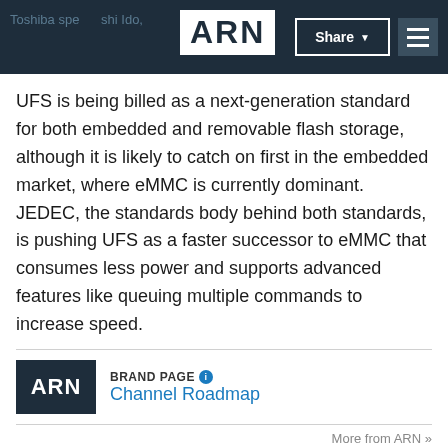ARN — Toshiba spe... shi Ido,   Share  ☰
UFS is being billed as a next-generation standard for both embedded and removable flash storage, although it is likely to catch on first in the embedded market, where eMMC is currently dominant. JEDEC, the standards body behind both standards, is pushing UFS as a faster successor to eMMC that consumes less power and supports advanced features like queuing multiple commands to increase speed.
[Figure (logo): ARN logo and BRANDPAGE Channel Roadmap advertisement panel]
More from ARN »
The UFS standard is backed by major semiconductor and